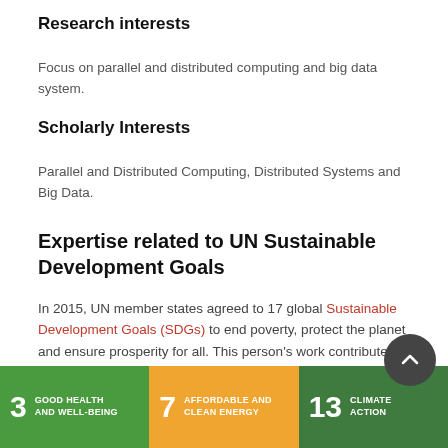Research interests
Focus on parallel and distributed computing and big data system.
Scholarly Interests
Parallel and Distributed Computing, Distributed Systems and Big Data.
Expertise related to UN Sustainable Development Goals
In 2015, UN member states agreed to 17 global Sustainable Development Goals (SDGs) to end poverty, protect the planet and ensure prosperity for all. This person's work contributes towards the following SDG(s):
[Figure (infographic): Three SDG badges shown: 3 Good Health and Well-Being (green), 7 Affordable and Clean Energy (orange/yellow), 13 Climate Action (dark green)]